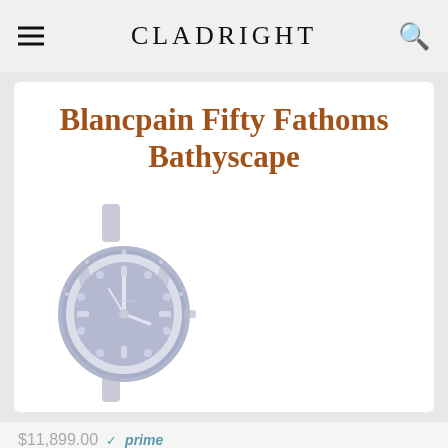CLADRIGHT
Blancpain Fifty Fathoms Bathyscape
[Figure (photo): A Blancpain Fifty Fathoms Bathyscape dive watch with blue-grey dial and NATO strap, shown at an angle.]
$11,899.00 ✓prime